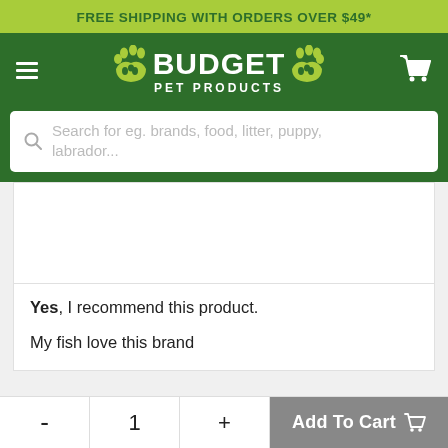FREE SHIPPING WITH ORDERS OVER $49*
[Figure (logo): Budget Pet Products logo with paw print icons on dark green navigation bar with hamburger menu and cart icon]
Search for eg. brands, food, litter, puppy, labrador...
[Figure (photo): Product image area (white/blank)]
Yes, I recommend this product.
My fish love this brand
- 1 + Add To Cart